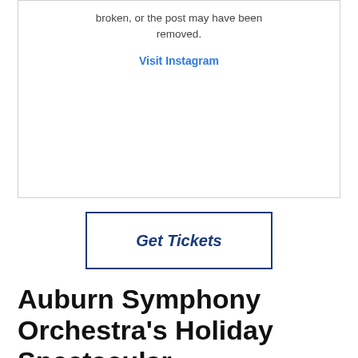broken, or the post may have been removed.
Visit Instagram
Get Tickets
Auburn Symphony Orchestra's Holiday Spectacular
Celebrate the holidays with Auburn Symphony Orchestra!